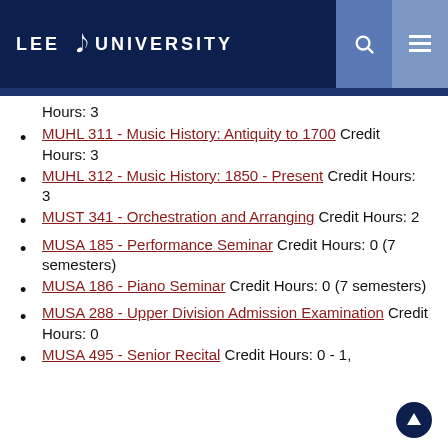LEE UNIVERSITY
Hours: 3
MUHL 311 - Music History: Antiquity to 1700 Credit Hours: 3
MUHL 312 - Music History: 1850 - Present Credit Hours: 3
MUST 341 - Orchestration and Arranging Credit Hours: 2
MUSA 185 - Performance Seminar Credit Hours: 0 (7 semesters)
MUSA 186 - Piano Seminar Credit Hours: 0 (7 semesters)
MUSA 288 - Upper Division Admission Examination Credit Hours: 0
MUSA 495 - Senior Recital Credit Hours: 0 - 1,